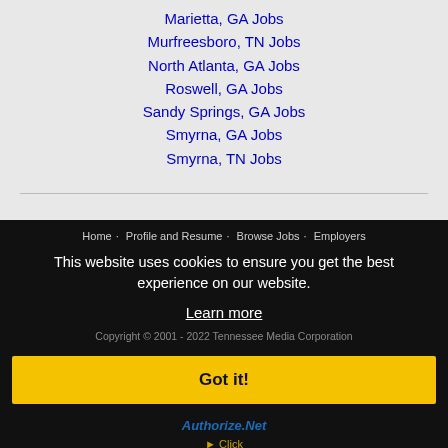Marietta, GA Jobs
Murfreesboro, TN Jobs
North Atlanta, GA Jobs
Roswell, GA Jobs
Sandy Springs, GA Jobs
Smyrna, GA Jobs
Smyrna, TN Jobs
Home  Profile and Resume  Browse Jobs  Employers
This website uses cookies to ensure you get the best experience on our website.
Learn more
Copyright © 2001 - 2022 Tennessee Media Corporation
Got it!
Authorize.Net Click